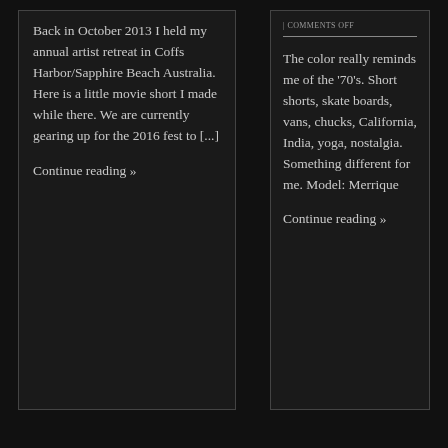| COMMENTS OFF
Back in October 2013 I held my annual artist retreat in Coffs Harbor/Sapphire Beach Australia. Here is a little movie short I made while there. We are currently gearing up for the 2016 fest to [...]
Continue reading »
The color really reminds me of the '70's. Short shorts, skate boards, vans, chucks, California, India, yoga, nostalgia. Something different for me. Model: Merrique
Continue reading »